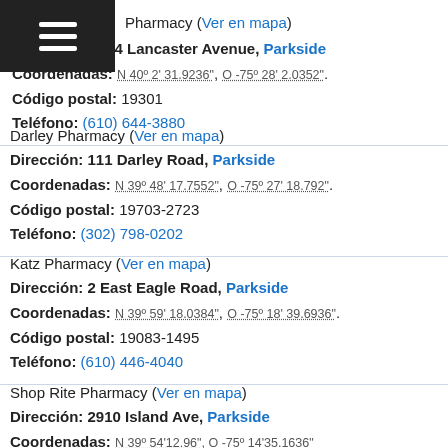≡
Pharmacy (Ver en mapa)
Dirección: 1564 Lancaster Avenue, Parkside
Coordenadas: N 40° 2' 31.9236", O -75° 28' 2.0352".
Código postal: 19301
Teléfono: (610) 644-3880
Darley Pharmacy (Ver en mapa)
Dirección: 111 Darley Road, Parkside
Coordenadas: N 39° 48' 17.7552", O -75° 27' 18.792".
Código postal: 19703-2723
Teléfono: (302) 798-0202
Katz Pharmacy (Ver en mapa)
Dirección: 2 East Eagle Road, Parkside
Coordenadas: N 39° 59' 18.0384", O -75° 18' 39.6936".
Código postal: 19083-1495
Teléfono: (610) 446-4040
Shop Rite Pharmacy (Ver en mapa)
Dirección: 2910 Island Ave, Parkside
Coordenadas: N 39° 54' 12.96", O -75° 14' 35.1636".